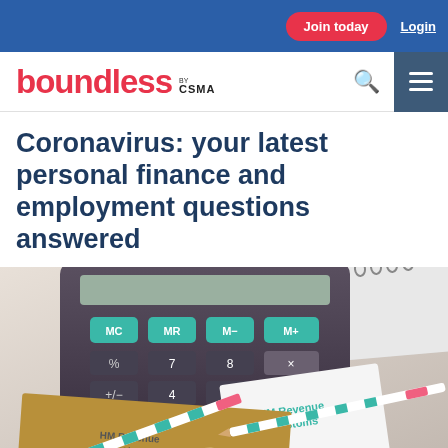Join today  Login
[Figure (logo): Boundless by CSMA logo with search icon and hamburger menu]
Coronavirus: your latest personal finance and employment questions answered
[Figure (photo): Photo of a calculator, HM Revenue & Customs envelopes and papers, and pencils on a white background]